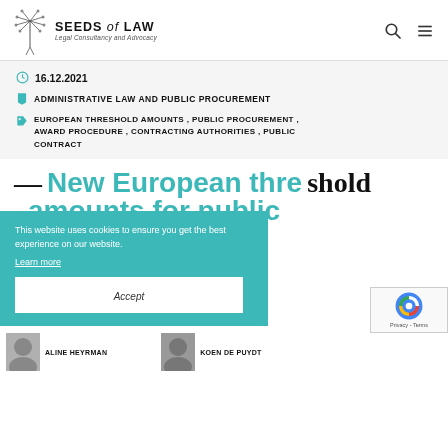SEEDS of LAW – Legal Consultancy and Advocacy
16.12.2021
ADMINISTRATIVE LAW AND PUBLIC PROCUREMENT
EUROPEAN THRESHOLD AMOUNTS , PUBLIC PROCUREMENT , AWARD PROCEDURE , CONTRACTING AUTHORITIES , PUBLIC CONTRACT
— New European threshold amounts for public procurement
This website uses cookies to ensure you get the best experience on our website. Learn more
Accept
ALINE HEYRMAN
KOEN DE PUYDT